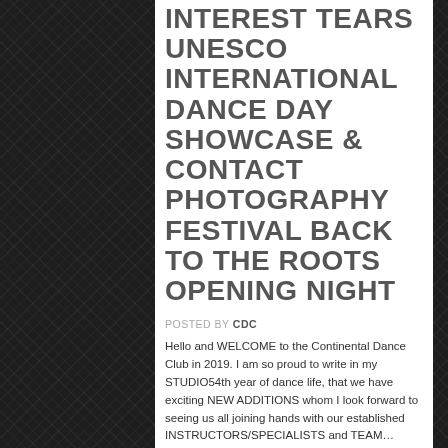INTEREST TEARS UNESCO INTERNATIONAL DANCE DAY SHOWCASE & CONTACT PHOTOGRAPHY FESTIVAL BACK TO THE ROOTS OPENING NIGHT
POSTED BY CDC
Hello and WELCOME to the Continental Dance Club in 2019. I am so proud to write in my STUDIO54th year of dance life, that we have exciting NEW ADDITIONS whom I look forward to seeing us all joining hands with our established INSTRUCTORS/SPECIALISTS and TEAM…
Continue reading →
JAN 12 2019